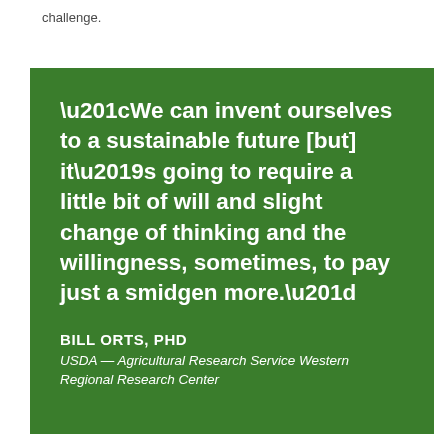challenge.
“We can invent ourselves to a sustainable future [but] it’s going to require a little bit of will and slight change of thinking and the willingness, sometimes, to pay just a smidgen more.”
BILL ORTS, PHD
USDA — Agricultural Research Service Western Regional Research Center